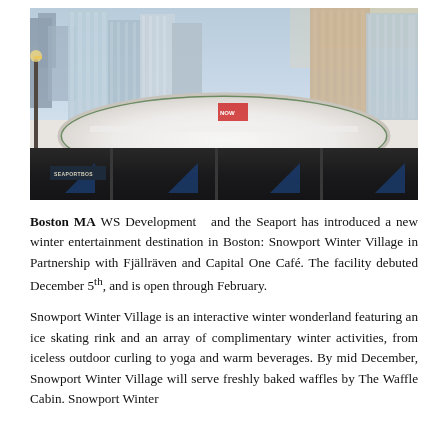[Figure (photo): Outdoor ice skating rink (Snowport Winter Village) at the Seaport in Boston, MA. The rink is covered in snow with tall glass and steel high-rise buildings visible in the background under a winter sky. The bottom of the image shows a dark enclosure structure with a sign reading 'SEAPORT BOS' and blue triangular accents.]
Boston MA WS Development  and the Seaport has introduced a new winter entertainment destination in Boston: Snowport Winter Village in Partnership with Fjällräven and Capital One Café. The facility debuted December 5th, and is open through February.
Snowport Winter Village is an interactive winter wonderland featuring an ice skating rink and an array of complimentary winter activities, from iceless outdoor curling to yoga and warm beverages. By mid December, Snowport Winter Village will serve freshly baked waffles by The Waffle Cabin. Snowport Winter